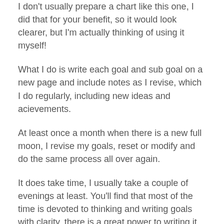I don't usually prepare a chart like this one, I did that for your benefit, so it would look clearer, but I'm actually thinking of using it myself!
What I do is write each goal and sub goal on a new page and include notes as I revise, which I do regularly, including new ideas and acievements.
At least once a month when there is a new full moon, I revise my goals, reset or modify and do the same process all over again.
It does take time, I usually take a couple of evenings at least. You'll find that most of the time is devoted to thinking and writing goals with clarity, there is a great power to writing it all down and holding yourself accountable for what you do to fulfill your dreams, because it's not enough to just look at the moon and